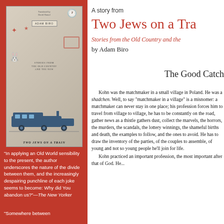[Figure (illustration): Book cover for 'Two Jews on a Train' by Adam Biro, showing an aged parchment-colored background with decorative elements including a clock, stamp, butterfly/bug, rabbit, and a train illustration at the bottom. The author name badge reads 'ADAM BIRO'. Subtitle text reads 'STORIES FROM THE OLD COUNTRY AND THE NEW'. Title at bottom reads 'TWO JEWS ON A TRAIN' in italic letters.]
"In applying an Old World sensibility to the present, the author underscores the nature of the divide between them, and the increasingly despairing punchline of each joke seems to become: Why did You abandon us?"—The New Yorker
"Somewhere between
A story from
Two Jews on a Tra
Stories from the Old Country and the
by Adam Biro
The Good Catch
Kohn was the matchmaker in a small village in Poland. He was a shadchen. Well, to say "matchmaker in a village" is a misnomer: a matchmaker can never stay in one place; his profession forces him to travel from village to village, he has to be constantly on the road, gather news as a thistle gathers dust, collect the marvels, the horrors, the murders, the scandals, the lottery winnings, the shameful births and death, the examples to follow, and the ones to avoid. He has to draw the inventory of the parties, of the couples to assemble, of young and not so young people he'll join for life.

Kohn practiced an important profession, the most important after that of God. He...